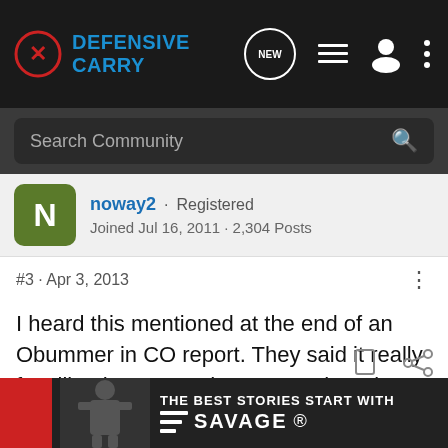Defensive Carry
Search Community
noway2 · Registered
Joined Jul 16, 2011 · 2,304 Posts
#3 · Apr 3, 2013
I heard this mentioned at the end of an Obummer in CO report. They said it really fast like they wanted you to not hear it.
[Figure (screenshot): THE BEST STORIES START WITH SAVAGE advertisement banner]